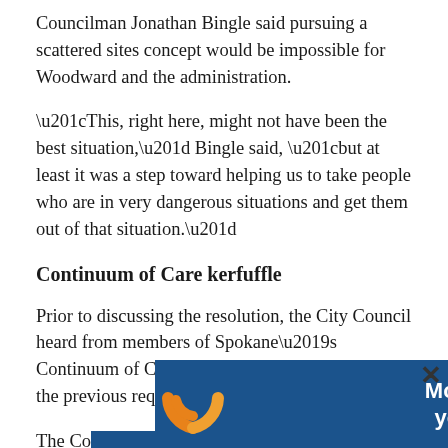Councilman Jonathan Bingle said pursuing a scattered sites concept would be impossible for Woodward and the administration.
“This, right here, might not have been the best situation,” Bingle said, “but at least it was a step toward helping us to take people who are in very dangerous situations and get them out of that situation.”
Continuum of Care kerfuffle
Prior to discussing the resolution, the City Council heard from members of Spokane’s Continuum of Care Board on what happened with the previous request for proposals process.
The Co[ntinuum of Care Board had the ability to recommend... dale
[Figure (infographic): Advertisement banner: 'More points in your pocket.' with orange logo icons on a dark blue background. An X close button appears in the top right corner.]